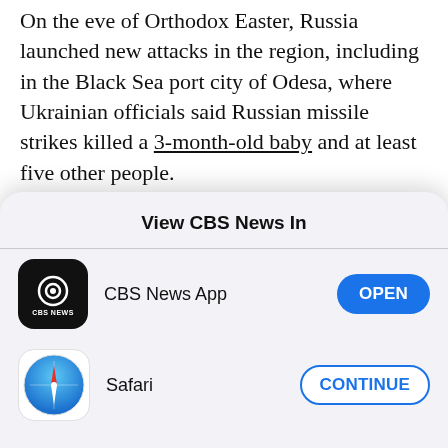On the eve of Orthodox Easter, Russia launched new attacks in the region, including in the Black Sea port city of Odesa, where Ukrainian officials said Russian missile strikes killed a 3-month-old baby and at least five other people.
Shmyhal said Mariupol is like a "symbol of brave Ukrainian soldiers and civilians" who have tried to protect the city amid heavy Russian bombardment. But the only part of the city that remains under
View CBS News In
[Figure (logo): CBS News app icon — black rounded square with CBS eye logo and CBS NEWS text]
CBS News App
OPEN
[Figure (logo): Safari browser icon — blue compass on white background]
Safari
CONTINUE